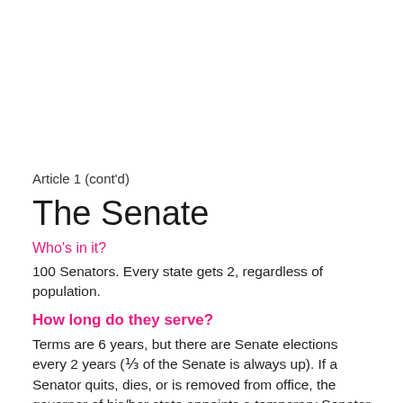Article 1 (cont'd)
The Senate
Who's in it?
100 Senators. Every state gets 2, regardless of population.
How long do they serve?
Terms are 6 years, but there are Senate elections every 2 years (⅓ of the Senate is always up). If a Senator quits, dies, or is removed from office, the governor of his/her state appoints a temporary Senator until the next election. This is a big deal because if there's